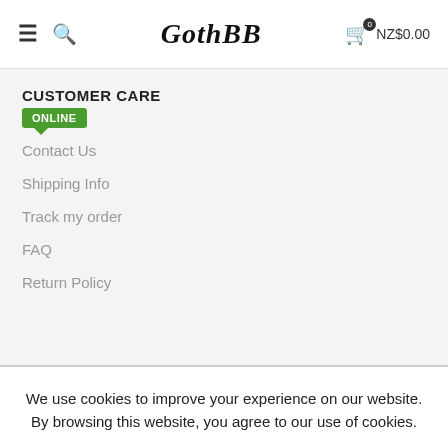GothBB — NZ$0.00
CUSTOMER CARE
ONLINE
Contact Us
Shipping Info
Track my order
FAQ
Return Policy
We use cookies to improve your experience on our website. By browsing this website, you agree to our use of cookies.
MORE INFO  ACCEPT